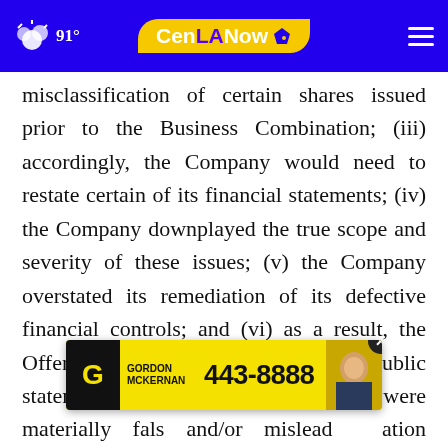91° CenLANow
misclassification of certain shares issued prior to the Business Combination; (iii) accordingly, the Company would need to restate certain of its financial statements; (iv) the Company downplayed the true scope and severity of these issues; (v) the Company overstated its remediation of its defective financial controls; and (vi) as a result, the Offering Documents and Defendants' public statements throughout the Class Period were materially false and/or misleading and/or omitted material information required to be stated therein
[Figure (screenshot): Gordon McKernan advertisement banner with phone number 443-8888]